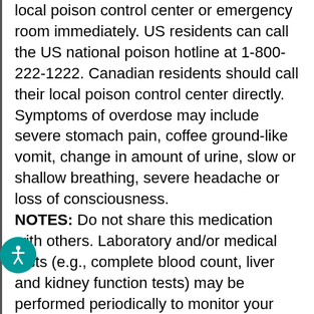local poison control center or emergency room immediately. US residents can call the US national poison hotline at 1-800-222-1222. Canadian residents should call their local poison control center directly. Symptoms of overdose may include severe stomach pain, coffee ground-like vomit, change in amount of urine, slow or shallow breathing, severe headache or loss of consciousness.
NOTES: Do not share this medication with others. Laboratory and/or medical tests (e.g., complete blood count, liver and kidney function tests) may be performed periodically to monitor your progress or check for side effects. Consult your doctor for more details. Non-drug treatment for arthritis that is approved by your doctor (e.g., weight loss if needed, strengthening and conditioning exercises) may help improve your flexibility, range of motion, and joint function. Consult your doctor for specific instructions.
MISSED DOSE: If you miss a dose, use it as soon as you remember. If it is near the time of the next dose, skip the missed dose and resume your usual dosing schedule. Do not double the dose to catch up.